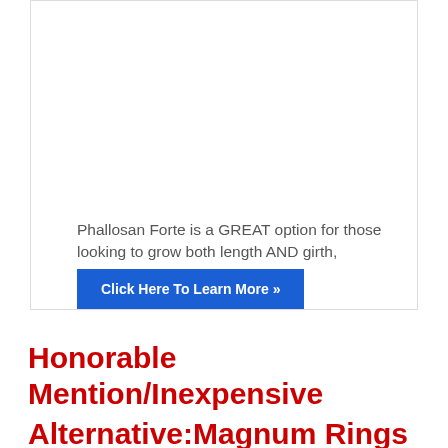Phallosan Forte is a GREAT option for those looking to grow both length AND girth, permanently.
Click Here To Learn More »
Honorable Mention/Inexpensive Alternative:Magnum Rings